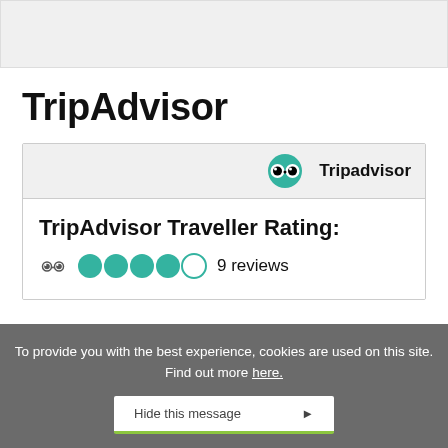[Figure (screenshot): Gray top banner area, empty header region]
TripAdvisor
[Figure (screenshot): TripAdvisor widget showing the Tripadvisor logo (green owl icon with 'Tripadvisor' text) in the header, then 'TripAdvisor Traveller Rating:' heading with 4 filled green circles and 1 empty circle rating bubbles plus owl icon and '9 reviews' text]
To provide you with the best experience, cookies are used on this site. Find out more here.
Hide this message ▶